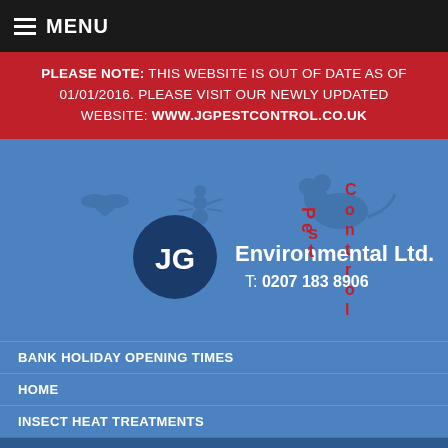MENU
PLEASE NOTE: THIS WEBSITE IS OUT OF DATE AS OF 01/01/2016. PLEASE VISIT OUR NEWLY UPDATED WEBSITE: WWW.JGPESTCONTROL.CO.UK
[Figure (logo): JG Environmental Pest Control Ltd. logo with pest silhouettes on blue background. T: 0207 183 8906]
BANK HOLIDAY OPENING TIMES
HOME
INSECT HEAT TREATMENTS
BED BUG REMOVAL
MICE
RATS
WASPS
SQUIRRELS